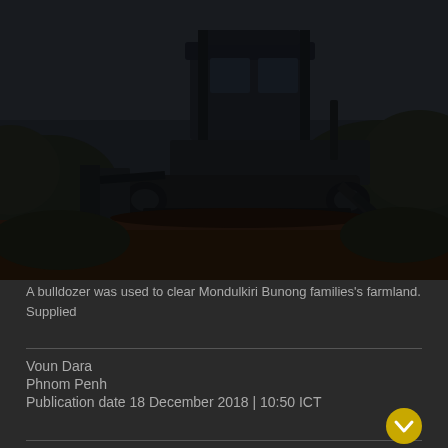[Figure (photo): A dark photograph of a bulldozer silhouetted against a dim sky, surrounded by vegetation. The machine appears to be in a forested or agricultural area clearing land.]
A bulldozer was used to clear Mondulkiri Bunong families’s farmland. Supplied
Voun Dara
Phnom Penh
Publication date 18 December 2018 | 10:50 ICT